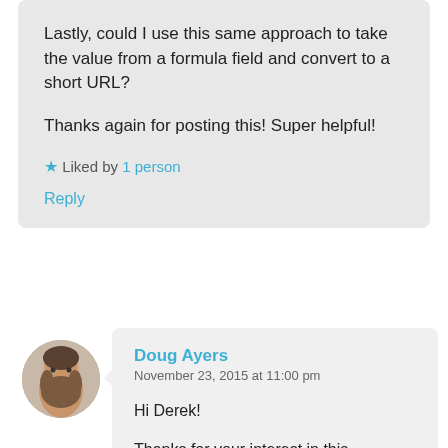Lastly, could I use this same approach to take the value from a formula field and convert to a short URL?

Thanks again for posting this! Super helpful!
★ Liked by 1 person
Reply
[Figure (photo): Circular avatar photo of a man with a beard]
Doug Ayers
November 23, 2015 at 11:00 pm

Hi Derek!

Thanks for your interest in this